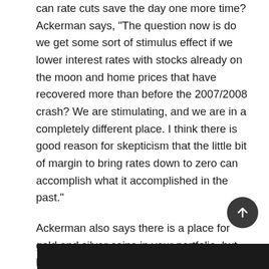can rate cuts save the day one more time? Ackerman says, "The question now is do we get some sort of stimulus effect if we lower interest rates with stocks already on the moon and home prices that have recovered more than before the 2007/2008 crash? We are stimulating, and we are in a completely different place. I think there is good reason for skepticism that the little bit of margin to bring rates down to zero can accomplish what it accomplished in the past."

Ackerman also says there is a place for gold and silver coins in your portfolio, but he thinks cash will be most useful in the next crash where banks are closed and the electronic payment system goes dark.